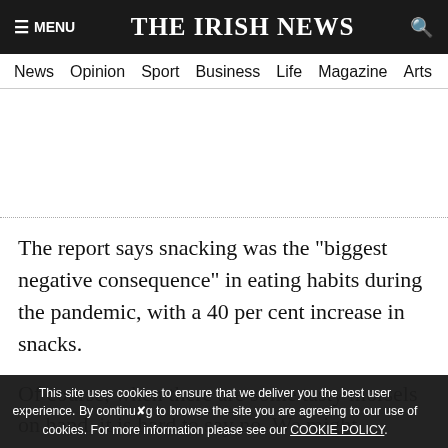≡ MENU   THE IRISH NEWS   🔍
News  Opinion  Sport  Business  Life  Magazine  Arts
The report says snacking was the "biggest negative consequence" in eating habits during the pandemic, with a 40 per cent increase in snacks.
Of course, when there are some tasty morsels on hand, it is hard to say no. We might mindlessly munch on a biscuit or three with a cup of tea at our desk, or have a hole in the ground that sometimes doesn't we have in the mouth yet. The
This site uses cookies to ensure that we deliver you the best user experience. By continuing to browse the site you are agreeing to our use of cookies. For more information please see our COOKIE POLICY.